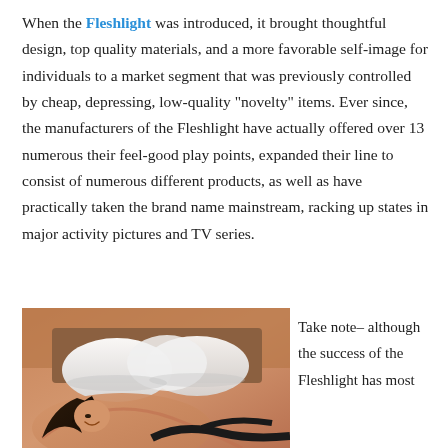When the Fleshlight was introduced, it brought thoughtful design, top quality materials, and a more favorable self-image for individuals to a market segment that was previously controlled by cheap, depressing, low-quality "novelty" items. Ever since, the manufacturers of the Fleshlight have actually offered over 13 numerous their feel-good play points, expanded their line to consist of numerous different products, as well as have practically taken the brand name mainstream, racking up states in major activity pictures and TV series.
[Figure (photo): Photo of a woman lying on a bed with white pillows in background]
Take note– although the success of the Fleshlight has most